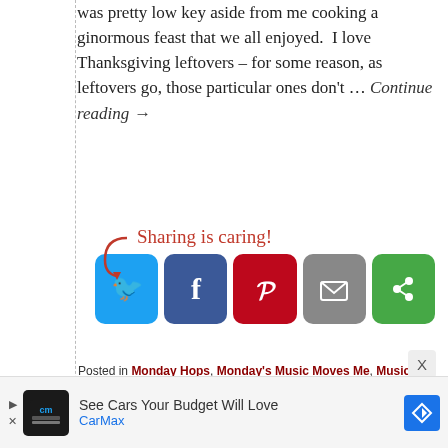was pretty low key aside from me cooking a ginormous feast that we all enjoyed.  I love Thanksgiving leftovers – for some reason, as leftovers go, those particular ones don't ... Continue reading →
[Figure (infographic): Sharing is caring! social share buttons: Twitter (blue), Facebook (dark blue), Pinterest (red), Email (gray), More (green)]
Posted in Monday Hops, Monday's Music Moves Me, Music Monday | Tagged Alanis Morissette, american idol, Catch My Breath, Danny Gokey, Guardian, In My Daughter's Eyes, inspiration, Just Fishin', Kelly Clarkson, Martina McBride, Monday Hops, Monday Music Moves Me, Music Monday, My Best Days Are Ahead Of Me, song selections, Trace Adkins
[Figure (infographic): CarMax advertisement: See Cars Your Budget Will Love, CarMax logo and navigation arrow icon]